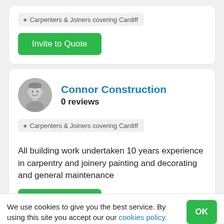Carpenters & Joiners covering Cardiff
Invite to Quote
Connor Construction
0 reviews
Carpenters & Joiners covering Cardiff
All building work undertaken 10 years experience in carpentry and joinery painting and decorating and general maintenance
Invite to Quote
We use cookies to give you the best service. By using this site you accept our our cookies policy.